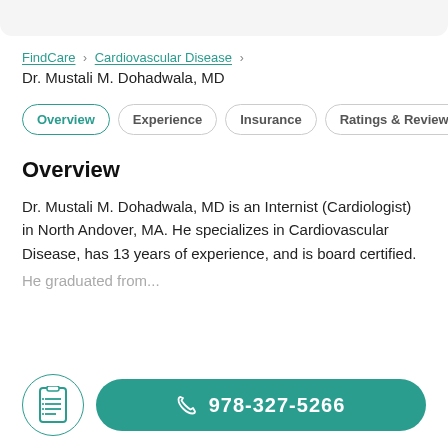FindCare › Cardiovascular Disease ›
Dr. Mustali M. Dohadwala, MD
Overview | Experience | Insurance | Ratings & Reviews
Overview
Dr. Mustali M. Dohadwala, MD is an Internist (Cardiologist) in North Andover, MA. He specializes in Cardiovascular Disease, has 13 years of experience, and is board certified. He graduated from...
978-327-5266